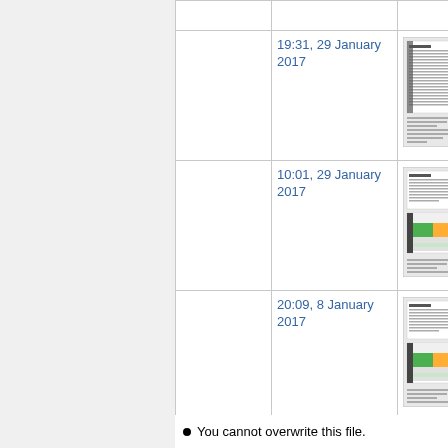|  | Date | Thumbnail |
| --- | --- | --- |
|  |  |  |
|  | 19:31, 29 January 2017 | [thumbnail] |
|  | 10:01, 29 January 2017 | [thumbnail] |
|  | 20:09, 8 January 2017 | [thumbnail] |
You cannot overwrite this file.